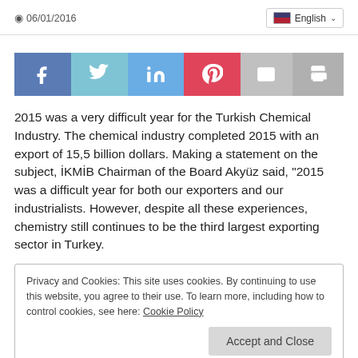06/01/2016
[Figure (infographic): Social sharing buttons: Facebook (blue), Twitter (light blue), LinkedIn (blue), Pinterest (red), Email (gray), Print (dark gray)]
2015 was a very difficult year for the Turkish Chemical Industry. The chemical industry completed 2015 with an export of 15,5 billion dollars. Making a statement on the subject, İKMİB Chairman of the Board Akyüz said, "2015 was a difficult year for both our exporters and our industrialists. However, despite all these experiences, chemistry still continues to be the third largest exporting sector in Turkey.
Privacy and Cookies: This site uses cookies. By continuing to use this website, you agree to their use. To learn more, including how to control cookies, see here: Cookie Policy
behind a difficult year.